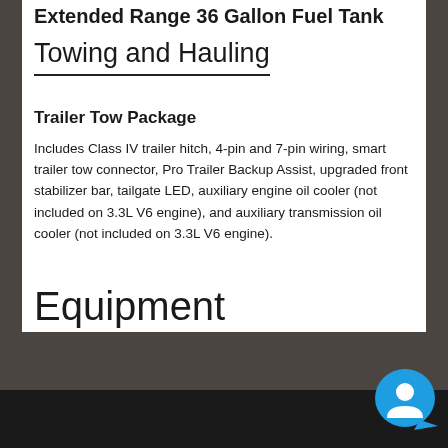Extended Range 36 Gallon Fuel Tank
Towing and Hauling
Trailer Tow Package
Includes Class IV trailer hitch, 4-pin and 7-pin wiring, smart trailer tow connector, Pro Trailer Backup Assist, upgraded front stabilizer bar, tailgate LED, auxiliary engine oil cooler (not included on 3.3L V6 engine), and auxiliary transmission oil cooler (not included on 3.3L V6 engine).
Equipment
[Figure (illustration): Chat support button icon in bottom right corner]